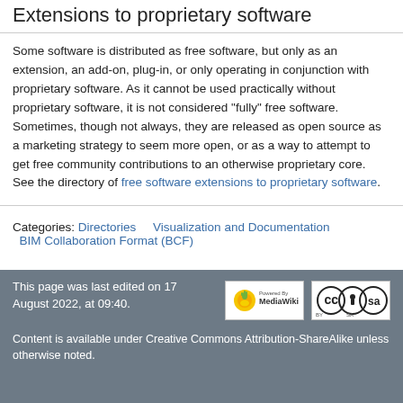Extensions to proprietary software
Some software is distributed as free software, but only as an extension, an add-on, plug-in, or only operating in conjunction with proprietary software. As it cannot be used practically without proprietary software, it is not considered "fully" free software. Sometimes, though not always, they are released as open source as a marketing strategy to seem more open, or as a way to attempt to get free community contributions to an otherwise proprietary core. See the directory of free software extensions to proprietary software.
Categories:  Directories    Visualization and Documentation   BIM Collaboration Format (BCF)
This page was last edited on 17 August 2022, at 09:40.

Content is available under Creative Commons Attribution-ShareAlike unless otherwise noted.